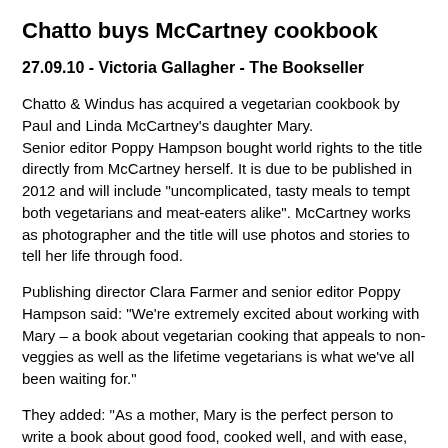Chatto buys McCartney cookbook
27.09.10 - Victoria Gallagher - The Bookseller
Chatto & Windus has acquired a vegetarian cookbook by Paul and Linda McCartney's daughter Mary. Senior editor Poppy Hampson bought world rights to the title directly from McCartney herself. It is due to be published in 2012 and will include "uncomplicated, tasty meals to tempt both vegetarians and meat-eaters alike". McCartney works as photographer and the title will use photos and stories to tell her life through food.
Publishing director Clara Farmer and senior editor Poppy Hampson said: "We're extremely excited about working with Mary – a book about vegetarian cooking that appeals to non-veggies as well as the lifetime vegetarians is what we've all been waiting for."
They added: "As a mother, Mary is the perfect person to write a book about good food, cooked well, and with ease, for all the family. And as a photographer she has a unique